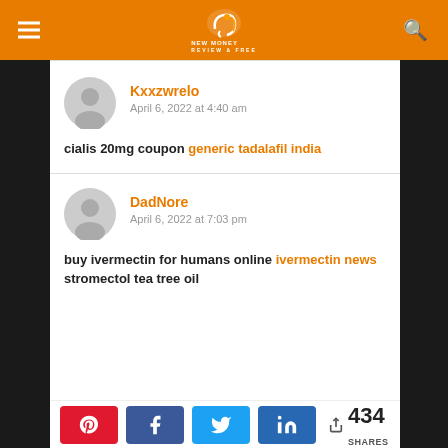NEW MONEY (logo/header navigation)
Kxxzwrelo
April 6, 2022 at 4:40 am
cialis 20mg coupon generic tadalafil india
DadNore
April 6, 2022 at 7:03 pm
buy ivermectin for humans online ivermectin news stromectol tea tree oil
434 SHARES